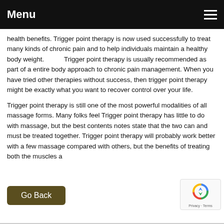Menu
health benefits. Trigger point therapy is now used successfully to treat many kinds of chronic pain and to help individuals maintain a healthy body weight.          Trigger point therapy is usually recommended as part of a entire body approach to chronic pain management. When you have tried other therapies without success, then trigger point therapy might be exactly what you want to recover control over your life.
Trigger point therapy is still one of the most powerful modalities of all massage forms. Many folks feel Trigger point therapy has little to do with massage, but the best contents notes state that the two can and must be treated together. Trigger point therapy will probably work better with a few massage compared with others, but the benefits of treating both the muscles a
[Figure (other): Go Back button — dark olive/brown rounded rectangle with white text]
[Figure (other): reCAPTCHA badge with rotating arrows logo and Privacy · Terms text]